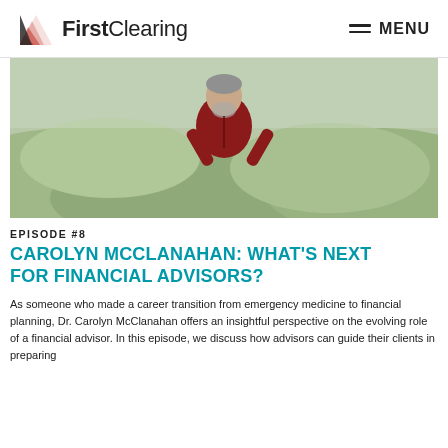FirstClearing  MENU
[Figure (photo): An older man with gray hair and beard, wearing a red long-sleeve shirt, standing outdoors against a scenic hilly landscape, smiling and looking to the side with hands on hips.]
EPISODE #8
CAROLYN MCCLANAHAN: WHAT'S NEXT FOR FINANCIAL ADVISORS?
As someone who made a career transition from emergency medicine to financial planning, Dr. Carolyn McClanahan offers an insightful perspective on the evolving role of a financial advisor. In this episode, we discuss how advisors can guide their clients in preparing